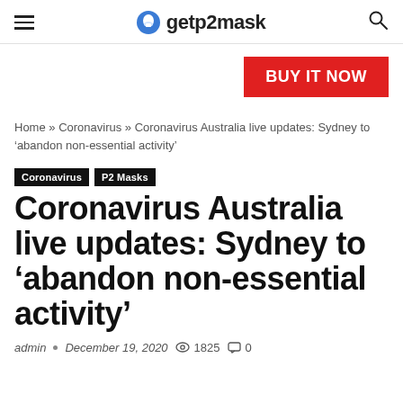getp2mask
[Figure (other): BUY IT NOW red button/banner]
Home » Coronavirus » Coronavirus Australia live updates: Sydney to 'abandon non-essential activity'
Coronavirus  P2 Masks
Coronavirus Australia live updates: Sydney to 'abandon non-essential activity'
admin  •  December 19, 2020  👁 1825  💬 0